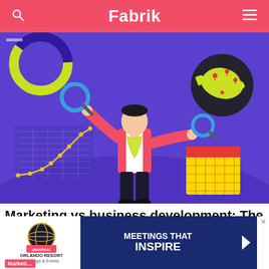Fabrik
[Figure (illustration): Marketing illustration on purple background: a person in red jacket holding two magnifying glasses, surrounded by analytics icons including a donut chart, globe with location pins, an upward trending line chart, and a calendar grid.]
Marketing vs business development: The key d…
[Figure (other): Advertisement banner for Universal Orlando Resort: 'MEETINGS THAT INSPIRE' with Universal logo and Meetings & Events text, with a navigation arrow button.]